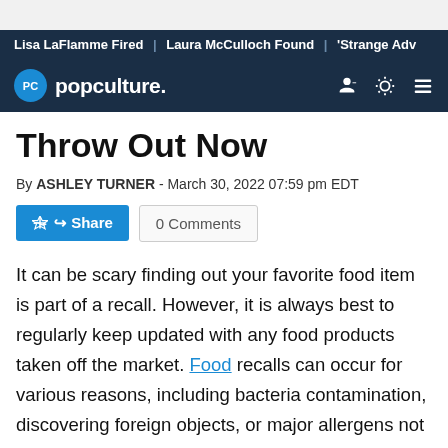Lisa LaFlamme Fired | Laura McCulloch Found | 'Strange Adv
[Figure (logo): Popculture.com logo with PC circle icon in navy header bar]
Throw Out Now
By ASHLEY TURNER - March 30, 2022 07:59 pm EDT
Share | 0 Comments
It can be scary finding out your favorite food item is part of a recall. However, it is always best to regularly keep updated with any food products taken off the market. Food recalls can occur for various reasons, including bacteria contamination, discovering foreign objects, or major allergens not identified on the packaging.